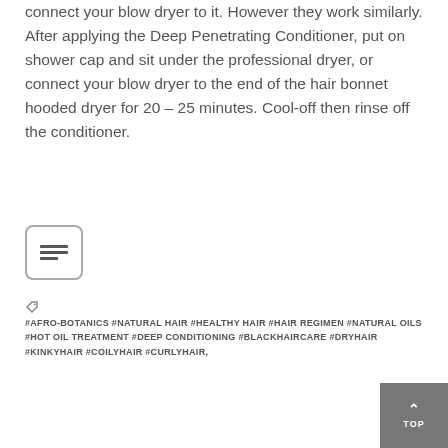connect your blow dryer to it. However they work similarly. After applying the Deep Penetrating Conditioner, put on shower cap and sit under the professional dryer, or connect your blow dryer to the end of the hair bonnet hooded dryer for 20 – 25 minutes. Cool-off then rinse off the conditioner.
[Figure (other): Rounded rectangle icon with three horizontal lines representing a table of contents or list icon]
#AFRO-BOTANICS #NATURAL HAIR #HEALTHY HAIR #HAIR REGIMEN #NATURAL OILS #HOT OIL TREATMENT #DEEP CONDITIONING #BLACKHAIRCARE #DRYHAIR #KINKYHAIR #COILYHAIR #CURLYHAIR,